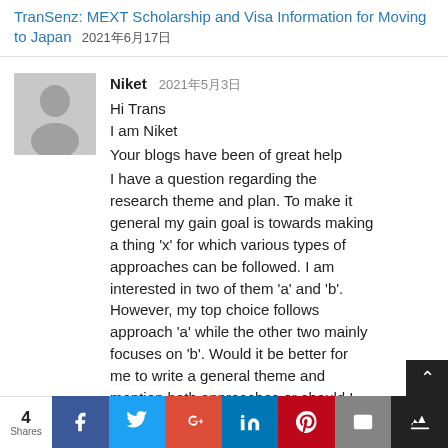TranSenz: MEXT Scholarship and Visa Information for Moving to Japan 2021年6月17日
[Figure (illustration): Gray placeholder avatar of a person silhouette]
Niket 2021年5月3日
Hi Trans
I am Niket
Your blogs have been of great help
I have a question regarding the research theme and plan. To make it general my gain goal is towards making a thing 'x' for which various types of approaches can be followed. I am interested in two of them 'a' and 'b'. However, my top choice follows approach 'a' while the other two mainly focuses on 'b'. Would it be better for me to write a general theme and mention both approaches or should I
4 Shares | Facebook | Twitter | Google+ | LinkedIn | Pinterest | Email | Bookmark